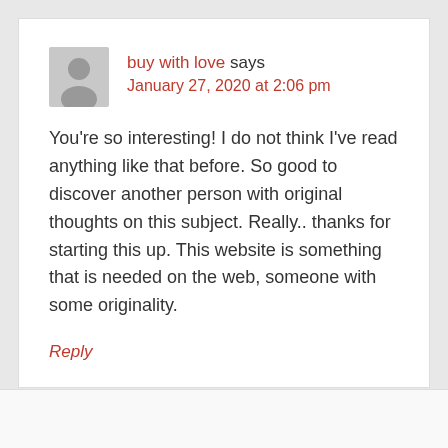buy with love says
January 27, 2020 at 2:06 pm
You're so interesting! I do not think I've read anything like that before. So good to discover another person with original thoughts on this subject. Really.. thanks for starting this up. This website is something that is needed on the web, someone with some originality.
Reply